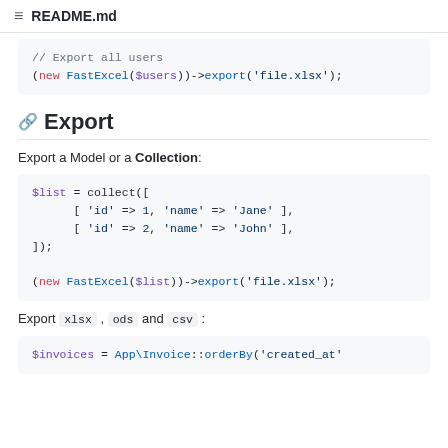README.md
// Export all users
(new FastExcel($users))->export('file.xlsx');
Export
Export a Model or a Collection:
$list = collect([
    [ 'id' => 1, 'name' => 'Jane' ],
    [ 'id' => 2, 'name' => 'John' ],
]);

(new FastExcel($list))->export('file.xlsx');
Export xlsx , ods and csv :
$invoices = App\Invoice::orderBy('created_at'